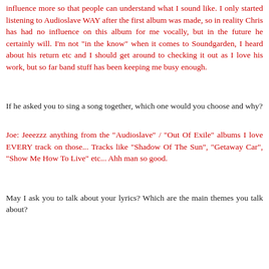influence more so that people can understand what I sound like. I only started listening to Audioslave WAY after the first album was made, so in reality Chris has had no influence on this album for me vocally, but in the future he certainly will. I'm not "in the know" when it comes to Soundgarden, I heard about his return etc and I should get around to checking it out as I love his work, but so far band stuff has been keeping me busy enough.
If he asked you to sing a song together, which one would you choose and why?
Joe: Jeeezzz anything from the "Audioslave" / "Out Of Exile" albums I love EVERY track on those... Tracks like "Shadow Of The Sun", "Getaway Car", "Show Me How To Live" etc... Ahh man so good.
May I ask you to talk about your lyrics? Which are the main themes you talk about?